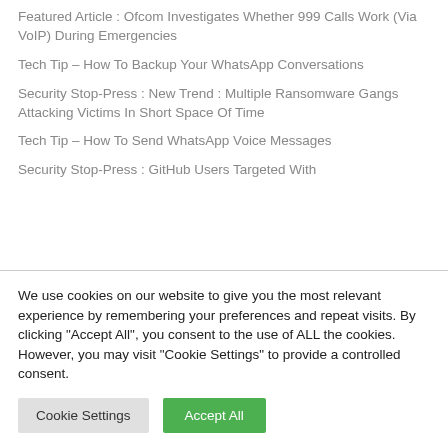Featured Article : Ofcom Investigates Whether 999 Calls Work (Via VoIP) During Emergencies
Tech Tip – How To Backup Your WhatsApp Conversations
Security Stop-Press : New Trend : Multiple Ransomware Gangs Attacking Victims In Short Space Of Time
Tech Tip – How To Send WhatsApp Voice Messages
Security Stop-Press : GitHub Users Targeted With
We use cookies on our website to give you the most relevant experience by remembering your preferences and repeat visits. By clicking "Accept All", you consent to the use of ALL the cookies. However, you may visit "Cookie Settings" to provide a controlled consent.